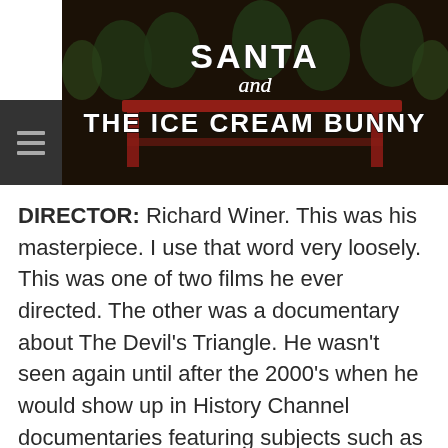[Figure (photo): Movie poster/title card for 'Santa and The Ice Cream Bunny' showing performers in costumes around a table with large stylized text. Dark, vintage-looking image with a red table and people in green costumes.]
DIRECTOR: Richard Winer. This was his masterpiece. I use that word very loosely. This was one of two films he ever directed. The other was a documentary about The Devil's Triangle. He wasn't seen again until after the 2000's when he would show up in History Channel documentaries featuring subjects such as The Bermuda Triangle and UFO's and the like.